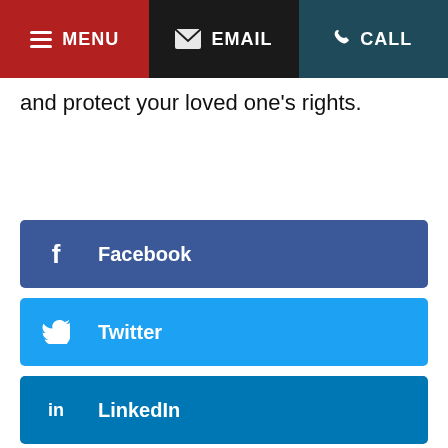MENU  EMAIL  CALL
and protect your loved one's rights.
Facebook
Twitter
LinkedIn
LIVE CHAT  START NOW